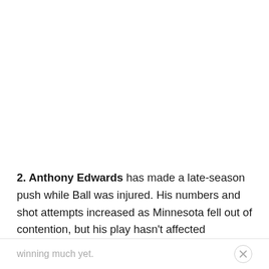2. Anthony Edwards has made a late-season push while Ball was injured. His numbers and shot attempts increased as Minnesota fell out of contention, but his play hasn't affected winning much yet.